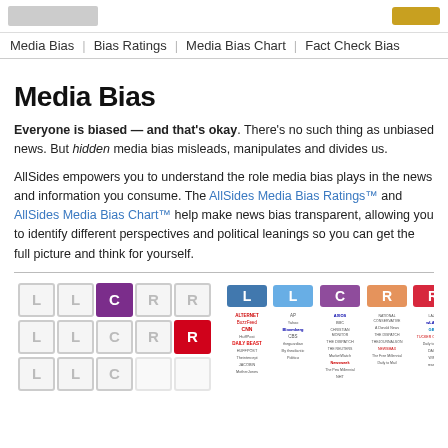AllSides | Media Bias | Bias Ratings | Media Bias Chart | Fact Check Bias
Media Bias
Everyone is biased — and that's okay. There's no such thing as unbiased news. But hidden media bias misleads, manipulates and divides us.

AllSides empowers you to understand the role media bias plays in the news and information you consume. The AllSides Media Bias Ratings™ and AllSides Media Bias Chart™ help make news bias transparent, allowing you to identify different perspectives and political leanings so you can get the full picture and think for yourself.
[Figure (infographic): Media bias ratings grid showing L, L, C, R, R letter boxes in a grid, with some colored (purple C, red R) and a media bias chart showing outlet logos arranged by bias rating columns.]